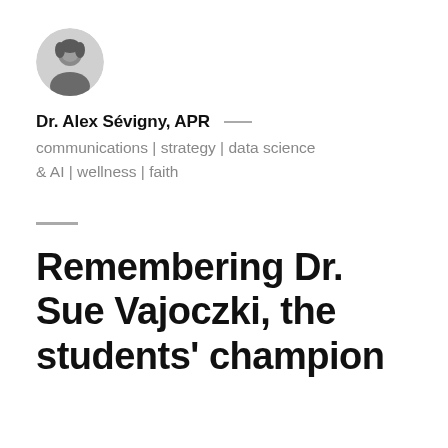[Figure (photo): Circular profile photo of Dr. Alex Sévigny, a person with dark hair, grayscale/black and white image]
Dr. Alex Sévigny, APR — communications | strategy | data science & AI | wellness | faith
Remembering Dr. Sue Vajoczki, the students' champion